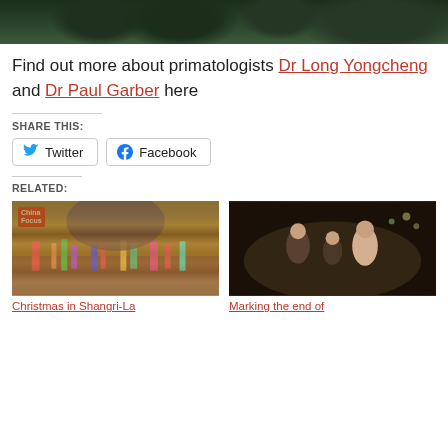[Figure (photo): Top banner photo of trees/forest canopy, dark green foliage]
Find out more about primatologists Dr Long Yongcheng and Dr Paul Garber here
SHARE THIS:
Twitter
Facebook
RELATED:
[Figure (photo): Christmas in Shangri-La — colorful festival crowd gathering]
Christmas in Shangri-La
[Figure (photo): Marking the end of — family group photo at night]
Marking the end of